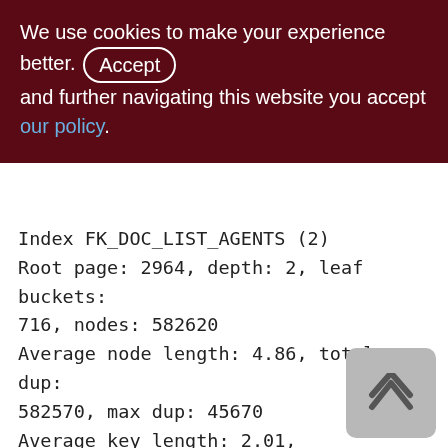We use cookies to make your experience better. By using and further navigating this website you accept our policy.
Index FK_DOC_LIST_AGENTS (2)
Root page: 2964, depth: 2, leaf buckets: 716, nodes: 582620
Average node length: 4.86, total dup: 582570, max dup: 45670
Average key length: 2.01, compression ratio: 4.47
Average prefix length: 8.99, average data length: 0.01
Clustering factor: 276678, ratio: 0.47
Fill distribution:
0 - 19% = 0
20 - 39% = 1